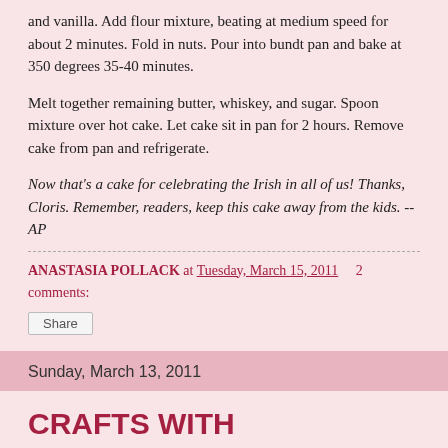and vanilla. Add flour mixture, beating at medium speed for about 2 minutes. Fold in nuts. Pour into bundt pan and bake at 350 degrees 35-40 minutes.
Melt together remaining butter, whiskey, and sugar. Spoon mixture over hot cake. Let cake sit in pan for 2 hours. Remove cake from pan and refrigerate.
Now that's a cake for celebrating the Irish in all of us! Thanks, Cloris. Remember, readers, keep this cake away from the kids. -- AP
ANASTASIA POLLACK at Tuesday, March 15, 2011    2 comments:
Share
Sunday, March 13, 2011
CRAFTS WITH ANASTASIA-- EVEN MORE CROSS STITCH TIPS